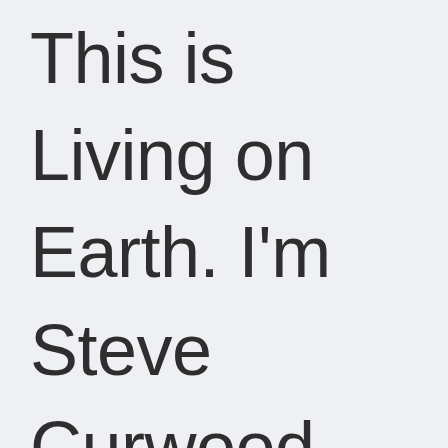This is Living on Earth. I'm Steve Curwood. Researchers studying reefs off the Florida